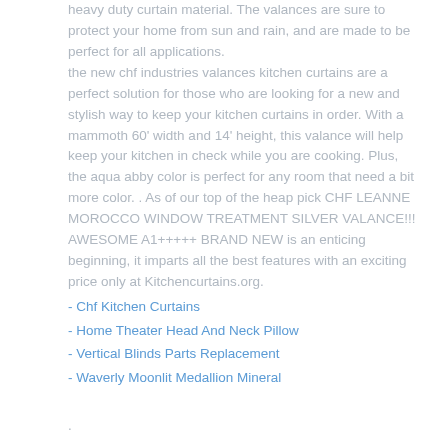heavy duty curtain material. The valances are sure to protect your home from sun and rain, and are made to be perfect for all applications.
the new chf industries valances kitchen curtains are a perfect solution for those who are looking for a new and stylish way to keep your kitchen curtains in order. With a mammoth 60' width and 14' height, this valance will help keep your kitchen in check while you are cooking. Plus, the aqua abby color is perfect for any room that need a bit more color. . As of our top of the heap pick CHF LEANNE MOROCCO WINDOW TREATMENT SILVER VALANCE!!! AWESOME A1+++++ BRAND NEW is an enticing beginning, it imparts all the best features with an exciting price only at Kitchencurtains.org.
- Chf Kitchen Curtains
- Home Theater Head And Neck Pillow
- Vertical Blinds Parts Replacement
- Waverly Moonlit Medallion Mineral
.